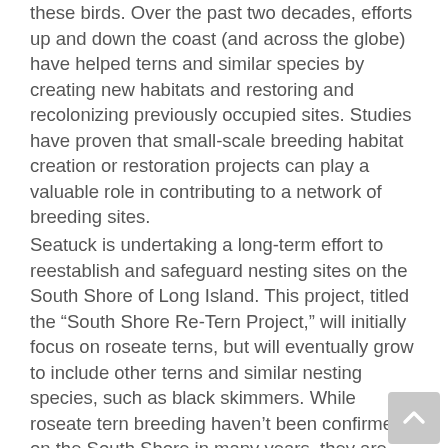these birds. Over the past two decades, efforts up and down the coast (and across the globe) have helped terns and similar species by creating new habitats and restoring and recolonizing previously occupied sites. Studies have proven that small-scale breeding habitat creation or restoration projects can play a valuable role in contributing to a network of breeding sites.
Seatuck is undertaking a long-term effort to reestablish and safeguard nesting sites on the South Shore of Long Island. This project, titled the “South Shore Re-Tern Project,” will initially focus on roseate terns, but will eventually grow to include other terns and similar nesting species, such as black skimmers. While roseate tern breeding haven’t been confirmed on the South Shore in many years, they are regularly